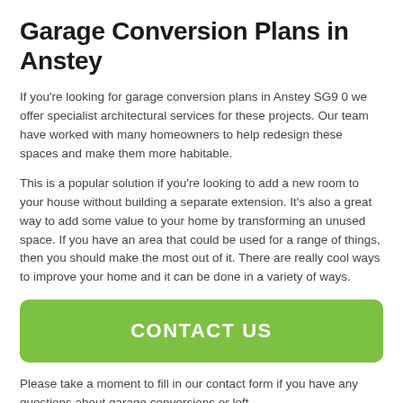Garage Conversion Plans in Anstey
If you're looking for garage conversion plans in Anstey SG9 0 we offer specialist architectural services for these projects. Our team have worked with many homeowners to help redesign these spaces and make them more habitable.
This is a popular solution if you're looking to add a new room to your house without building a separate extension. It's also a great way to add some value to your home by transforming an unused space. If you have an area that could be used for a range of things, then you should make the most out of it. There are really cool ways to improve your home and it can be done in a variety of ways.
[Figure (other): Green rounded button with white bold uppercase text reading CONTACT US]
Please take a moment to fill in our contact form if you have any questions about garage conversions or loft